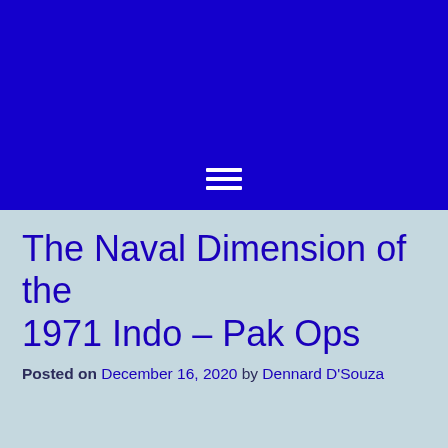[Figure (other): Blue header banner with hamburger menu icon (three white horizontal lines) centered near the bottom of the banner]
The Naval Dimension of the 1971 Indo – Pak Ops
Posted on December 16, 2020 by Dennard D'Souza